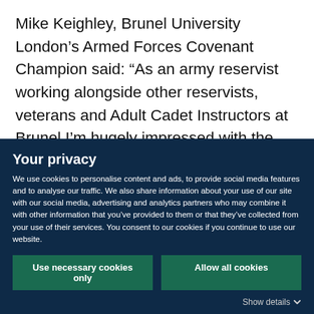Mike Keighley, Brunel University London’s Armed Forces Covenant Champion said: “As an army reservist working alongside other reservists, veterans and Adult Cadet Instructors at Brunel I’m hugely impressed with the support that the university provides for those who serve in their Armed Forces. As a university we’re continually looking to broaden and strengthen our support for the wider Armed
Your privacy
We use cookies to personalise content and ads, to provide social media features and to analyse our traffic. We also share information about your use of our site with our social media, advertising and analytics partners who may combine it with other information that you’ve provided to them or that they’ve collected from your use of their services. You consent to our cookies if you continue to use our website.
Use necessary cookies only
Allow all cookies
Show details